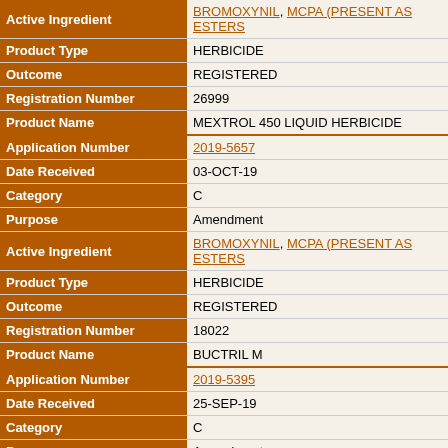| Field | Value |
| --- | --- |
| Active Ingredient | BROMOXYNIL, MCPA (PRESENT AS ESTERS |
| Product Type | HERBICIDE |
| Outcome | REGISTERED |
| Registration Number | 26999 |
| Product Name | MEXTROL 450 LIQUID HERBICIDE |
| Application Number | 2019-5657 |
| Date Received | 03-OCT-19 |
| Category | C |
| Purpose | Amendment |
| Active Ingredient | BROMOXYNIL, MCPA (PRESENT AS ESTERS |
| Product Type | HERBICIDE |
| Outcome | REGISTERED |
| Registration Number | 18022 |
| Product Name | BUCTRIL M |
| Application Number | 2019-5395 |
| Date Received | 25-SEP-19 |
| Category | C |
| Purpose | Amendment |
| Active Ingredient | BROMOXYNIL, MCPA (PRESENT AS ESTERS |
| Product Type | HERBICIDE |
| Outcome | REGISTERED |
| Registration Number | 32685 |